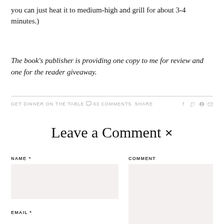you can just heat it to medium-high and grill for about 3-4 minutes.)
The book’s publisher is providing one copy to me for review and one for the reader giveaway.
GET DINNER ON THE TABLE  63 COMMENTS  SHARE
Leave a Comment ×
NAME *
COMMENT
EMAIL *